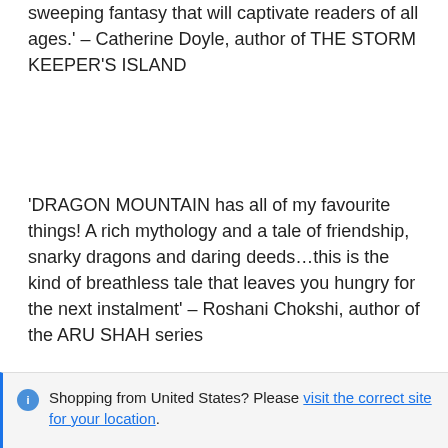sweeping fantasy that will captivate readers of all ages.' – Catherine Doyle, author of THE STORM KEEPER'S ISLAND
'DRAGON MOUNTAIN has all of my favourite things! A rich mythology and a tale of friendship, snarky dragons and daring deeds…this is the kind of breathless tale that leaves you hungry for the next instalment' – Roshani Chokshi, author of the ARU SHAH series
'DRAGON MOUNTAIN is a joy to read – adventurous and enchanting, with a heart of gold. It will make you re-live the moment you first looked at the sky and longed to see a dragon looking back' – Samantha Shannon, author of THE
Shopping from United States? Please visit the correct site for your location.